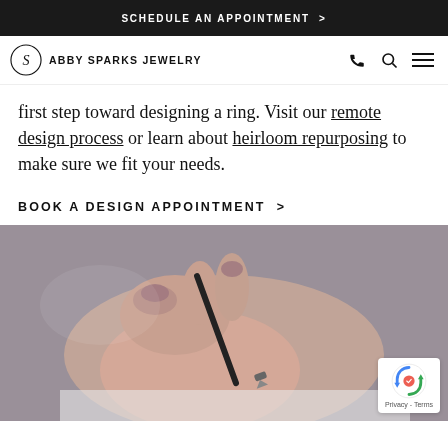SCHEDULE AN APPOINTMENT >
ABBY SPARKS JEWELRY
first step toward designing a ring. Visit our remote design process or learn about heirloom repurposing to make sure we fit your needs.
BOOK A DESIGN APPOINTMENT >
[Figure (photo): Close-up photo of a hand with mauve/pink nails holding a pen, drawing or writing on paper, suggesting a jewelry design consultation process.]